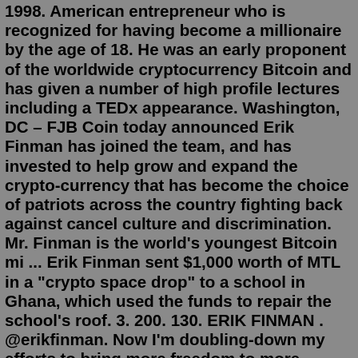1998. American entrepreneur who is recognized for having become a millionaire by the age of 18. He was an early proponent of the worldwide cryptocurrency Bitcoin and has given a number of high profile lectures including a TEDx appearance. Washington, DC – FJB Coin today announced Erik Finman has joined the team, and has invested to help grow and expand the crypto-currency that has become the choice of patriots across the country fighting back against cancel culture and discrimination. Mr. Finman is the world's youngest Bitcoin mi ... Erik Finman sent $1,000 worth of MTL in a "crypto space drop" to a school in Ghana, which used the funds to repair the school's roof. 3. 200. 130. ERIK FINMAN . @erikfinman. Now I'm doubling-down my efforts to bring more freedom to more Americans than ever before. Protecting your rights. Protecting your privacy.Jan 28, 2018 · Erik Finman is Still Bullish on Cryptocurrencies. It is safe to say Erik Finman is a self-made millionaire courtesy of cryptocurrencies. More specifically, he invested around 1,000 euros in ...